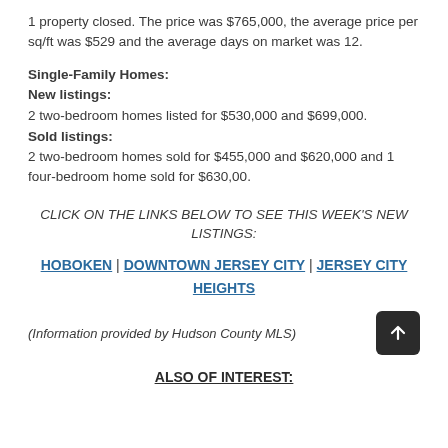1 property closed. The price was $765,000, the average price per sq/ft was $529 and the average days on market was 12.
Single-Family Homes:
New listings:
2 two-bedroom homes listed for $530,000 and $699,000.
Sold listings:
2 two-bedroom homes sold for $455,000 and $620,000 and 1 four-bedroom home sold for $630,00.
CLICK ON THE LINKS BELOW TO SEE THIS WEEK'S NEW LISTINGS:
HOBOKEN | DOWNTOWN JERSEY CITY | JERSEY CITY HEIGHTS
(Information provided by Hudson County MLS)
ALSO OF INTEREST: